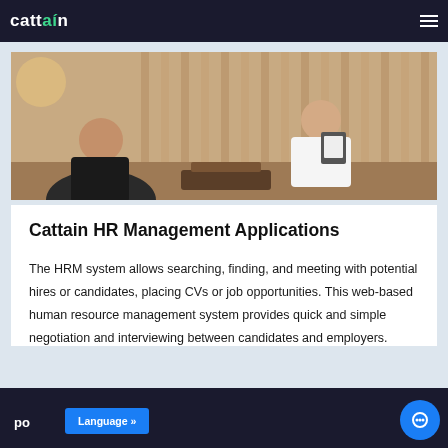cattain
[Figure (photo): Two people sitting across from each other in a modern lounge setting, appearing to be in a job interview or meeting. One person holds a clipboard/folder. Warm wood-paneled background.]
Cattain HR Management Applications
The HRM system allows searching, finding, and meeting with potential hires or candidates, placing CVs or job opportunities. This web-based human resource management system provides quick and simple negotiation and interviewing between candidates and employers.
po  Language »  C